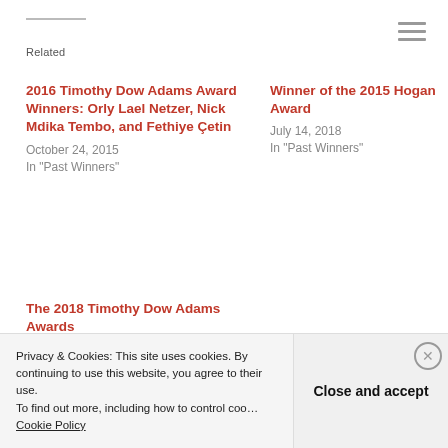Related
2016 Timothy Dow Adams Award Winners: Orly Lael Netzer, Nick Mdika Tembo, and Fethiye Çetin
October 24, 2015
In "Past Winners"
Winner of the 2015 Hogan Award
July 14, 2018
In "Past Winners"
The 2018 Timothy Dow Adams Awards
July 14, 2018
In "Past Winners"
Privacy & Cookies: This site uses cookies. By continuing to use this website, you agree to their use. To find out more, including how to control cookies, see here: Cookie Policy
Close and accept